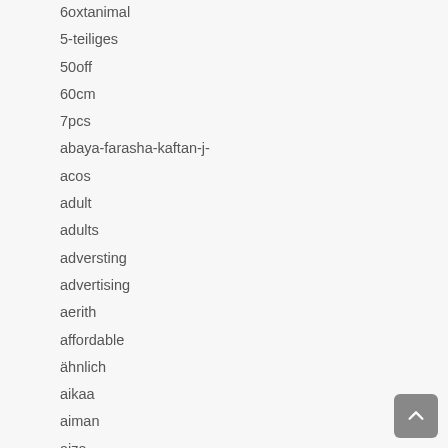6oxtanimal
5-teiliges
50off
60cm
7pcs
abaya-farasha-kaftan-j-
acos
adult
adults
adversting
advertising
aerith
affordable
ähnlich
aikaa
aiman
aiza
akemi
aladdin
albanian
alice
alita